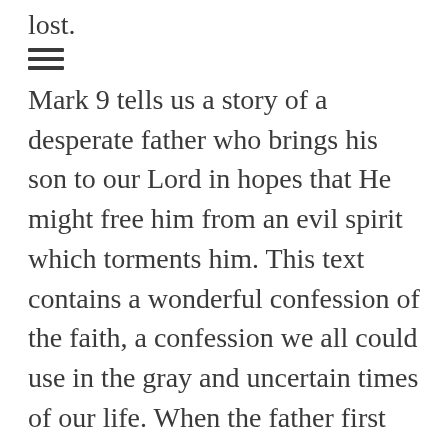lost.
[Figure (other): Hamburger menu icon (three horizontal lines)]
Mark 9 tells us a story of a desperate father who brings his son to our Lord in hopes that He might free him from an evil spirit which torments him. This text contains a wonderful confession of the faith, a confession we all could use in the gray and uncertain times of our life. When the father first gets to the disciples, Jesus is not there. He had taken Peter, James, and John with Him up a mountain where He was transfigured before them. That is a story for a different day. Our text then picks up as Jesus returns and walks